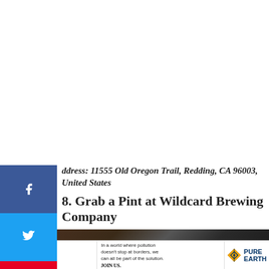Address: 11555 Old Oregon Trail, Redding, CA 96003, United States
8. Grab a Pint at Wildcard Brewing Company
[Figure (photo): Interior photo of a bar/pub showing taps and menus on the wall, dimly lit]
[Figure (infographic): Pure Earth advertisement banner: 'We believe the global pollution crisis can be solved. In a world where pollution doesn't stop at borders, we can all be part of the solution. JOIN US.' with Pure Earth diamond logo.]